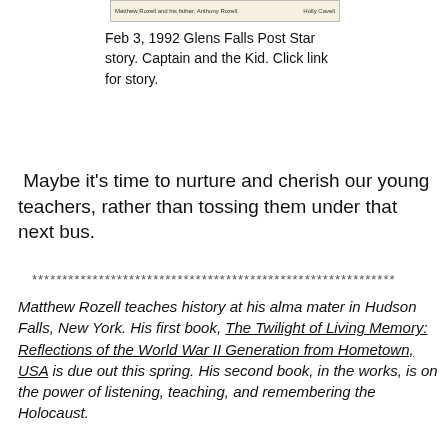[Figure (photo): Newspaper clipping showing two people, with caption text 'Matthew Rozell and his father, Anthony Rozell.' and partial text 'Holly Cavell' on the right side.]
Feb 3, 1992 Glens Falls Post Star story. Captain and the Kid. Click link for story.
Maybe it’s time to nurture and cherish our young teachers, rather than tossing them under that next bus.
************************************************************
Matthew Rozell teaches history at his alma mater in Hudson Falls, New York. His first book, The Twilight of Living Memory: Reflections of the World War II Generation from Hometown, USA is due out this spring. His second book, in the works, is on the power of listening, teaching, and remembering the Holocaust.